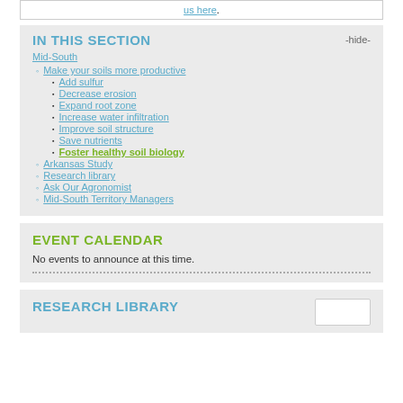us here.
IN THIS SECTION
-hide-
Mid-South
Make your soils more productive
Add sulfur
Decrease erosion
Expand root zone
Increase water infiltration
Improve soil structure
Save nutrients
Foster healthy soil biology
Arkansas Study
Research library
Ask Our Agronomist
Mid-South Territory Managers
EVENT CALENDAR
No events to announce at this time.
RESEARCH LIBRARY